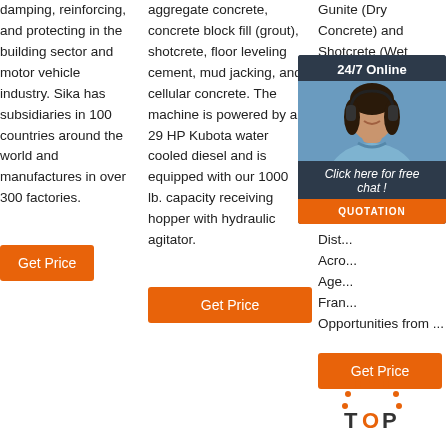damping, reinforcing, and protecting in the building sector and motor vehicle industry. Sika has subsidiaries in 100 countries around the world and manufactures in over 300 factories.
aggregate concrete, concrete block fill (grout), shotcrete, floor leveling cement, mud jacking, and cellular concrete. The machine is powered by a 29 HP Kubota water cooled diesel and is equipped with our 1000 lb. capacity receiving hopper with hydraulic agitator.
Gunite (Dry Concrete) and Shotcrete (Wet Concrete) - Largest Business Directory of Age... PCD... Dea... Reta... Cum... India... Dist... Acro... Age... Fran... Opportunities from ...
[Figure (other): Chat overlay with agent photo, '24/7 Online' header, 'Click here for free chat!' message, and QUOTATION button]
[Figure (logo): TOP logo with orange dots forming an arch above the letters TOP]